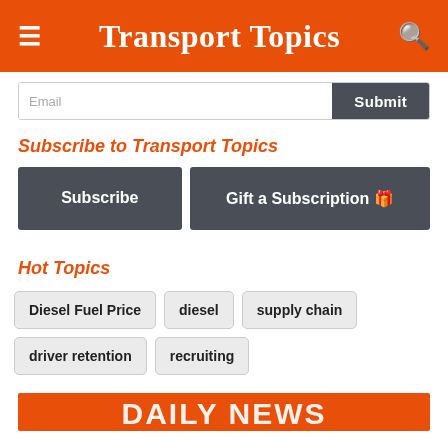Transport Topics
Email | Submit
Subscribe to Transport Topics
Subscribe | Gift a Subscription 🎁
Hot Topics
Diesel Fuel Price
diesel
supply chain
driver retention
recruiting
DAILY NEWS